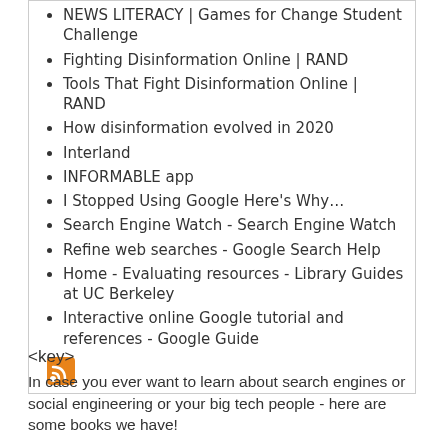NEWS LITERACY | Games for Change Student Challenge
Fighting Disinformation Online | RAND
Tools That Fight Disinformation Online | RAND
How disinformation evolved in 2020
Interland
INFORMABLE app
I Stopped Using Google Here's Why…
Search Engine Watch - Search Engine Watch
Refine web searches - Google Search Help
Home - Evaluating resources - Library Guides at UC Berkeley
Interactive online Google tutorial and references - Google Guide
[Figure (other): RSS feed icon (orange square with white wifi/signal symbol)]
<key>
In case you ever want to learn about search engines or social engineering or your big tech people - here are some books we have!